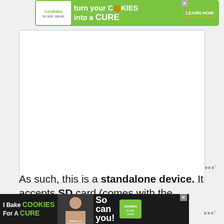[Figure (infographic): Top green advertisement banner for 'Cookies for Kids Cancer' — turn your COOKIES into a CURE, LEARN HOW. Close button (X) visible.]
[Figure (screenshot): White content area box (main body of webpage), mostly blank with wifi-like icon in bottom-right corner.]
As such, this is a standalone device. It accepts SD card (comes with the package) where the device saves all the scans without
[Figure (infographic): Bottom dark advertisement banner for 'Cookies for Kids Cancer' — I Bake COOKIES For A CURE, So can you! With photo of Heidora, 11 Cancer Survivor. Close button (X) visible.]